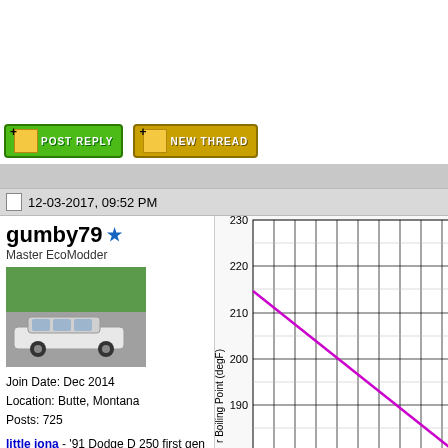[Figure (screenshot): Forum interface top area with white space]
[Figure (other): POST REPLY and NEW THREAD buttons in green pixel-art style]
12-03-2017, 09:52 PM
gumby79
Master EcoModder
[Figure (photo): Avatar photo showing a white car parked near trees]
Join Date: Dec 2014
Location: Butte, Montana
Posts: 725
little jona - '91 Dodge D 250 first gen cummins LE
Team Streamliner
90 day: 23.4 mpg (US)
Little Jona airo modded - '91 Dodge RAM 3/4 TON D 350 2x4
[Figure (line-chart): Line chart showing water boiling point in degF vs some variable, with a magenta/pink descending line. Y-axis shows values 180, 190, 200, 210, 220, 230.]